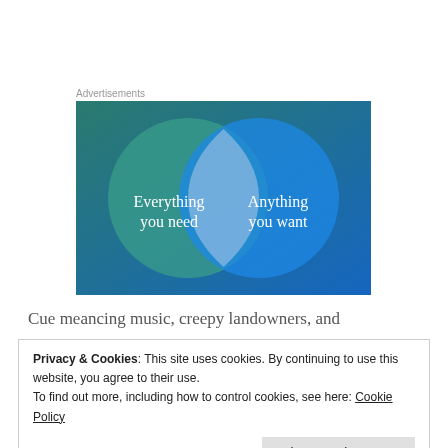Advertisements
[Figure (illustration): Venn diagram advertisement with two overlapping circles on a blue-green gradient background. Left circle (teal/green) labeled 'Everything you need', right circle (blue) labeled 'Anything you want', with overlapping area in light blue-gray.]
Cue meancing music, creepy landowners, and
Privacy & Cookies: This site uses cookies. By continuing to use this website, you agree to their use.
To find out more, including how to control cookies, see here: Cookie Policy
Close and accept
If you like creepy well plotted series this is one to